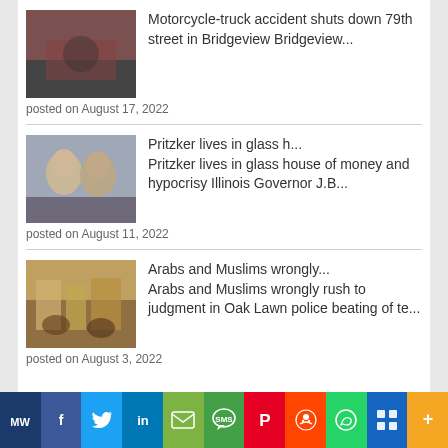[Figure (photo): Thumbnail photo for motorcycle-truck accident story]
Motorcycle-truck accident shuts down 79th street in Bridgeview Bridgeview...
posted on August 17, 2022
[Figure (photo): Thumbnail photo of two people for Pritzker glass house story]
Pritzker lives in glass h... Pritzker lives in glass house of money and hypocrisy Illinois Governor J.B...
posted on August 11, 2022
[Figure (photo): Thumbnail photo of street scene for Arabs and Muslims story]
Arabs and Muslims wrongly... Arabs and Muslims wrongly rush to judgment in Oak Lawn police beating of te...
posted on August 3, 2022